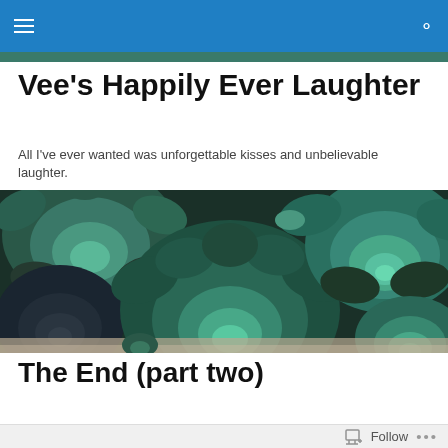Navigation bar with hamburger menu and search icon
Vee's Happily Ever Laughter
All I've ever wanted was unforgettable kisses and unbelievable laughter.
[Figure (photo): Close-up photo of succulent plants with teal, green, and dark purple rosette leaves filling the frame]
The End (part two)
Follow   ...